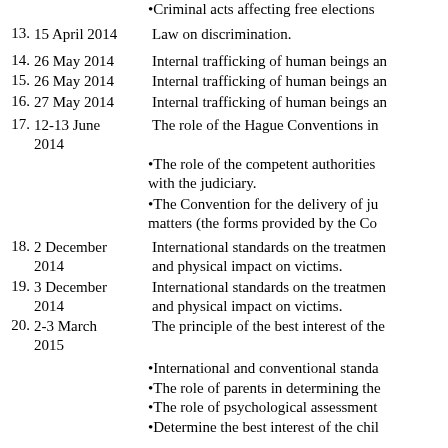•Criminal acts affecting free elections
13. 15 April 2014   Law on discrimination.
14. 26 May 2014   Internal trafficking of human beings and...
15. 26 May 2014   Internal trafficking of human beings and...
16. 27 May 2014   Internal trafficking of human beings and...
17. 12-13 June 2014   The role of the Hague Conventions in...
•The role of the competent authorities with the judiciary.
•The Convention for the delivery of judicial matters (the forms provided by the Co...
18. 2 December 2014   International standards on the treatment and physical impact on victims.
19. 3 December 2014   International standards on the treatment and physical impact on victims.
20. 2-3 March 2015   The principle of the best interest of the...
•International and conventional standards...
•The role of parents in determining the...
•The role of psychological assessment...
•Determine the best interest of the child...